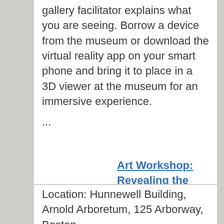gallery facilitator explains what you are seeing. Borrow a device from the museum or download the virtual reality app on your smart phone and bring it to place in a 3D viewer at the museum for an immersive experience.
...
Art Workshop: Revealing the Wild Print
Location: Hunnewell Building, Arnold Arboretum, 125 Arborway, Boston
Join the Arboretum's exhibiting